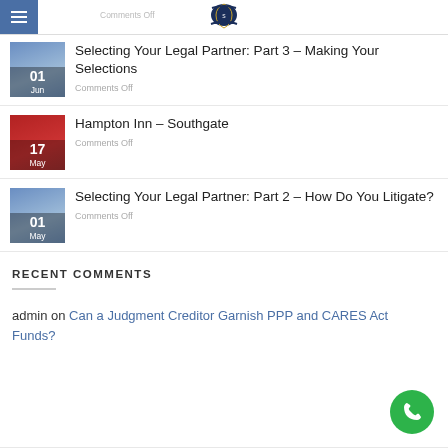Comments Off
[Figure (logo): Law firm logo with eagle/shield emblem and banner]
Selecting Your Legal Partner: Part 3 – Making Your Selections
Comments Off
Hampton Inn – Southgate
Comments Off
Selecting Your Legal Partner: Part 2 – How Do You Litigate?
Comments Off
RECENT COMMENTS
admin on Can a Judgment Creditor Garnish PPP and CARES Act Funds?